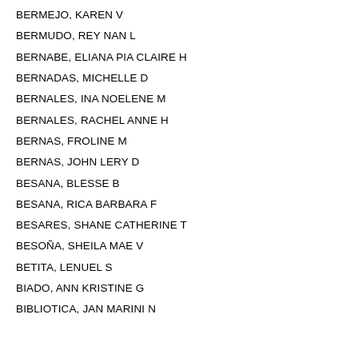BERMEJO, KAREN V
BERMUDO, REY NAN L
BERNABE, ELIANA PIA CLAIRE H
BERNADAS, MICHELLE D
BERNALES, INA NOELENE M
BERNALES, RACHEL ANNE H
BERNAS, FROLINE M
BERNAS, JOHN LERY D
BESANA, BLESSE B
BESANA, RICA BARBARA F
BESARES, SHANE CATHERINE T
BESOÑA, SHEILA MAE V
BETITA, LENUEL S
BIADO, ANN KRISTINE G
BIBLIOTICA, JAN MARINI N